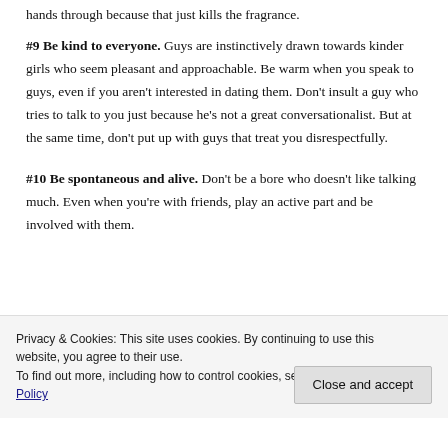just remember not to rub your perfume with your hands through because that just kills the fragrance.
#9 Be kind to everyone. Guys are instinctively drawn towards kinder girls who seem pleasant and approachable. Be warm when you speak to guys, even if you aren't interested in dating them. Don't insult a guy who tries to talk to you just because he's not a great conversationalist. But at the same time, don't put up with guys that treat you disrespectfully.
#10 Be spontaneous and alive. Don't be a bore who doesn't like talking much. Even when you're with friends, play an active part and be involved with them.
Privacy & Cookies: This site uses cookies. By continuing to use this website, you agree to their use. To find out more, including how to control cookies, see here: Cookie Policy